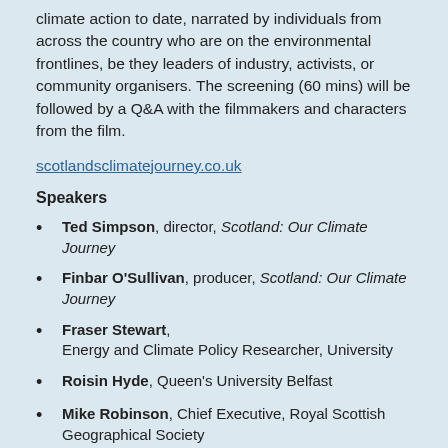climate action to date, narrated by individuals from across the country who are on the environmental frontlines, be they leaders of industry, activists, or community organisers. The screening (60 mins) will be followed by a Q&A with the filmmakers and characters from the film.
scotlandsclimatejourney.co.uk
Speakers
Ted Simpson, director, Scotland: Our Climate Journey
Finbar O'Sullivan, producer, Scotland: Our Climate Journey
Fraser Stewart, Energy and Climate Policy Researcher, University
Roisin Hyde, Queen's University Belfast
Mike Robinson, Chief Executive, Royal Scottish Geographical Society
To register...